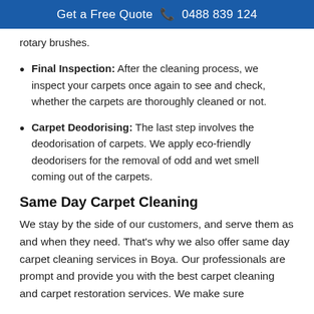Get a Free Quote 📞 0488 839 124
rotary brushes.
Final Inspection: After the cleaning process, we inspect your carpets once again to see and check, whether the carpets are thoroughly cleaned or not.
Carpet Deodorising: The last step involves the deodorisation of carpets. We apply eco-friendly deodorisers for the removal of odd and wet smell coming out of the carpets.
Same Day Carpet Cleaning
We stay by the side of our customers, and serve them as and when they need. That's why we also offer same day carpet cleaning services in Boya. Our professionals are prompt and provide you with the best carpet cleaning and carpet restoration services. We make sure